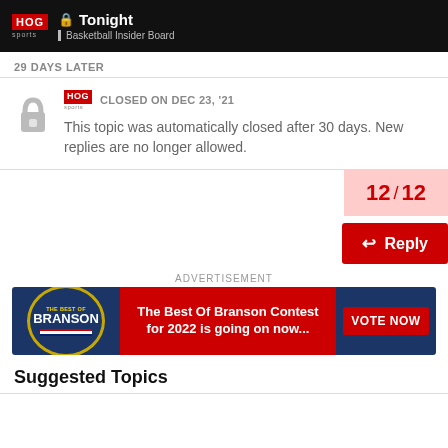Tonight — Basketball Insider Board
29 DAYS LATER
CLOSED ON DEC 23, '21
This topic was automatically closed after 30 days. New replies are no longer allowed.
12 / 12
Reply
ADVERTISEMENT
[Figure (infographic): Advertisement banner for The Best Of Branson Contest for 2022. Left section shows a Branson circular badge on blue background with American flag stripes. Middle red section reads 'The Best Of Branson Contest for 2022 is going on now...' Right blue section has a red VOTE NOW button.]
Suggested Topics